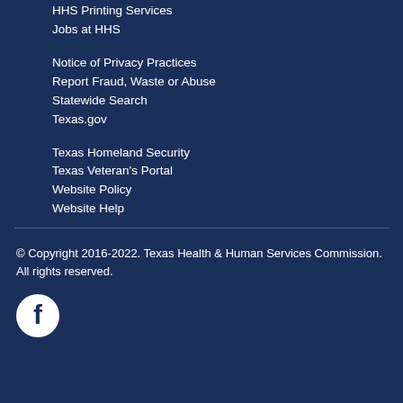HHS Printing Services
Jobs at HHS
Notice of Privacy Practices
Report Fraud, Waste or Abuse
Statewide Search
Texas.gov
Texas Homeland Security
Texas Veteran's Portal
Website Policy
Website Help
© Copyright 2016-2022. Texas Health & Human Services Commission. All rights reserved.
[Figure (logo): Facebook social media icon - white 'f' logo on dark circular background]